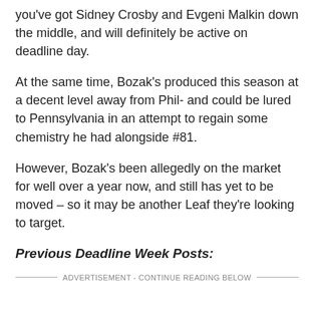you've got Sidney Crosby and Evgeni Malkin down the middle, and will definitely be active on deadline day.
At the same time, Bozak's produced this season at a decent level away from Phil- and could be lured to Pennsylvania in an attempt to regain some chemistry he had alongside #81.
However, Bozak's been allegedly on the market for well over a year now, and still has yet to be moved – so it may be another Leaf they're looking to target.
Previous Deadline Week Posts:
ADVERTISEMENT - CONTINUE READING BELOW